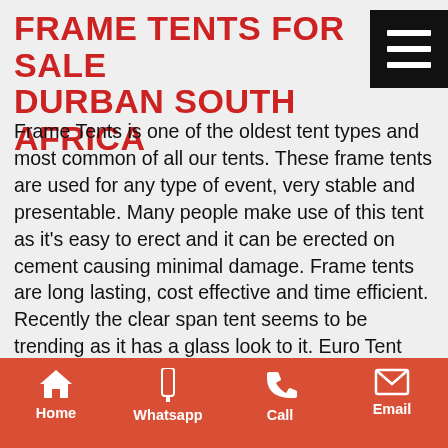FRAME TENTS FOR SALE DURBAN SOUTH AFRICA
Frame Tents is one of the oldest tent types and most common of all our tents. These frame tents are used for any type of event, very stable and presentable. Many people make use of this tent as it's easy to erect and it can be erected on cement causing minimal damage. Frame tents are long lasting, cost effective and time efficient. Recently the clear span tent seems to be trending as it has a glass look to it. Euro Tent supply to the following countries like South Africa, Mozambique, Angola, Swaziland, Kenya, Botswana, Zambia, Zimbabwe, Namibia, Nigeria & Lesotho.
SPECIFICATIONS:
Home  Whatsapp  Call  Email